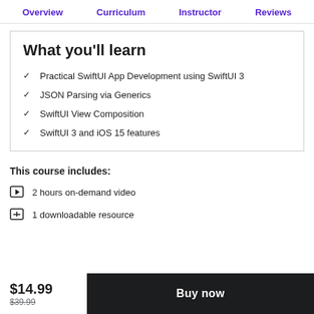Overview   Curriculum   Instructor   Reviews
What you'll learn
Practical SwiftUI App Development using SwiftUI 3
JSON Parsing via Generics
SwiftUI View Composition
SwiftUI 3 and iOS 15 features
This course includes:
2 hours on-demand video
1 downloadable resource
$14.99
$39.99
Buy now